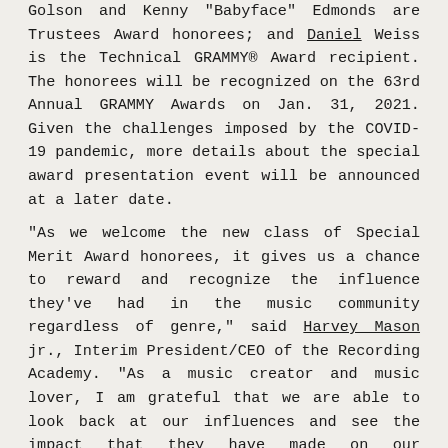Golson and Kenny "Babyface" Edmonds are Trustees Award honorees; and Daniel Weiss is the Technical GRAMMY® Award recipient. The honorees will be recognized on the 63rd Annual GRAMMY Awards on Jan. 31, 2021. Given the challenges imposed by the COVID-19 pandemic, more details about the special award presentation event will be announced at a later date.
"As we welcome the new class of Special Merit Award honorees, it gives us a chance to reward and recognize the influence they've had in the music community regardless of genre," said Harvey Mason jr., Interim President/CEO of the Recording Academy. "As a music creator and music lover, I am grateful that we are able to look back at our influences and see the impact that they have made on our community. In a year where music has helped keep us together, I look forward to honoring this iconic group of music creators."
Formed in the South Bronx of New York City in 1978, Grandmaster Flash & The Furious Five are among the pioneers of hip-hop. The group's use of turntablism, breakbeat deejaying, choreographed stage routines, and lyricism